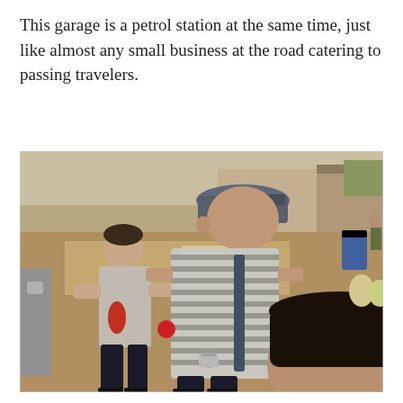This garage is a petrol station at the same time, just like almost any small business at the road catering to passing travelers.
[Figure (photo): Outdoor scene at a roadside market or petrol station in Southeast Asia. Several people are visible: a man in a grey t-shirt on the left, a person wearing a grey striped shirt and a cap facing away in the center, and the back of a boy's head in the foreground right. They appear to be exchanging small items. The background shows a dirt road, market stalls, and parked vehicles.]